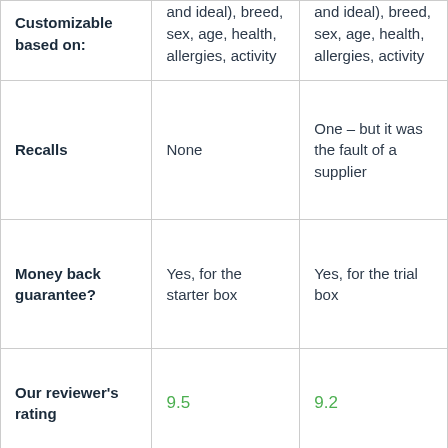| Customizable based on: | and ideal), breed, sex, age, health, allergies, activity | and ideal), breed, sex, age, health, allergies, activity |
| Recalls | None | One – but it was the fault of a supplier |
| Money back guarantee? | Yes, for the starter box | Yes, for the trial box |
| Our reviewer's rating | 9.5 | 9.2 |